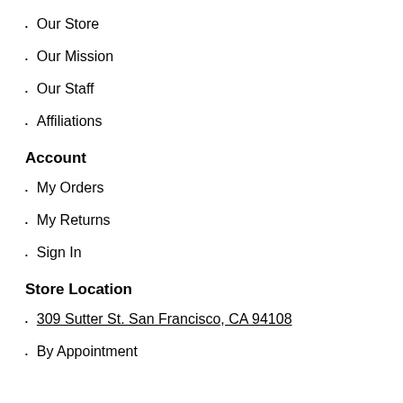Our Store
Our Mission
Our Staff
Affiliations
Account
My Orders
My Returns
Sign In
Store Location
309 Sutter St. San Francisco, CA 94108
By Appointment